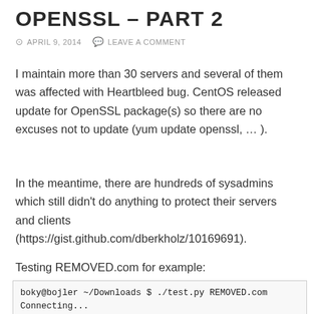OPENSSL – PART 2
APRIL 9, 2014   LEAVE A COMMENT
I maintain more than 30 servers and several of them was affected with Heartbleed bug. CentOS released update for OpenSSL package(s) so there are no excuses not to update (yum update openssl, … ).
In the meantime, there are hundreds of sysadmins which still didn't do anything to protect their servers and clients (https://gist.github.com/dberkholz/10169691).
Testing REMOVED.com for example:
boky@bojler ~/Downloads $ ./test.py REMOVED.com
Connecting...
Sending Client Hello...
Waiting for Server Hello...
  ... received message: type = 22, ver = 0302, leng
  ... received message: type = 22, ver = 0302, leng
  ... received message: type = 22, ver = 0302, leng